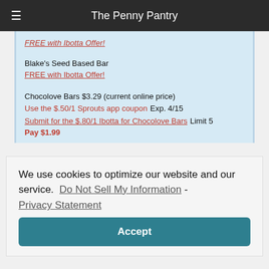The Penny Pantry
FREE with Ibotta Offer!
Blake's Seed Based Bar
FREE with Ibotta Offer!
Chocolove Bars $3.29 (current online price)
Use the $.50/1 Sprouts app coupon Exp. 4/15
Submit for the $.80/1 Ibotta for Chocolove Bars Limit 5
Pay $1.99
We use cookies to optimize our website and our service. Do Not Sell My Information - Privacy Statement
Accept
[Figure (photo): Bottom portion of a pink-colored product image, partially visible]